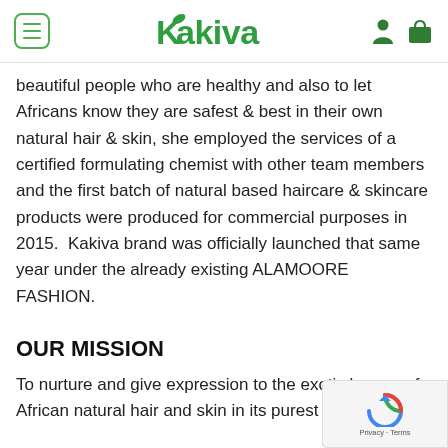Kakiva
beautiful people who are healthy and also to let Africans know they are safest & best in their own natural hair & skin, she employed the services of a certified formulating chemist with other team members and the first batch of natural based haircare & skincare products were produced for commercial purposes in 2015.  Kakiva brand was officially launched that same year under the already existing ALAMOORE FASHION.
OUR MISSION
To nurture and give expression to the exotic beauty of African natural hair and skin in its purest form by